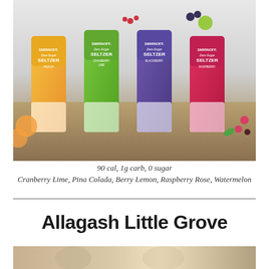[Figure (photo): Product photo of four Smirnoff Zero-Sugar Seltzer cans (Peach, Cranberry Lime, Blackberry, Raspberry) displayed with fruit garnishes and glasses of ice on a wooden surface]
90 cal, 1g carb, 0 sugar
Cranberry Lime, Pina Colada, Berry Lemon, Raspberry Rose, Watermelon
Allagash Little Grove
[Figure (photo): Partial bottom photo, content cropped]